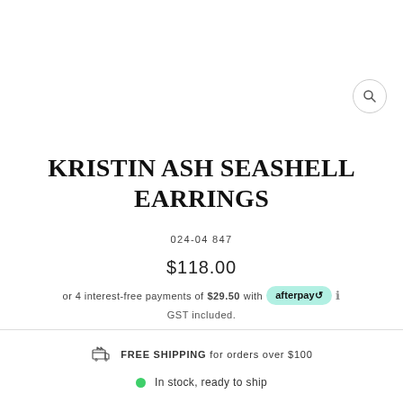KRISTIN ASH SEASHELL EARRINGS
024-04847
$118.00
or 4 interest-free payments of $29.50 with afterpay ℹ
GST included.
FREE SHIPPING for orders over $100
In stock, ready to ship